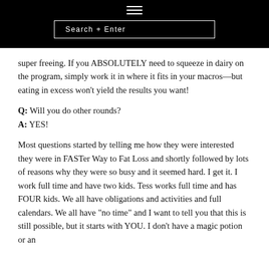Search + Enter
super freeing. If you ABSOLUTELY need to squeeze in dairy on the program, simply work it in where it fits in your macros—but eating in excess won't yield the results you want!
Q: Will you do other rounds?
A: YES!
Most questions started by telling me how they were interested they were in FASTer Way to Fat Loss and shortly followed by lots of reasons why they were so busy and it seemed hard. I get it. I work full time and have two kids. Tess works full time and has FOUR kids. We all have obligations and activities and full calendars. We all have "no time" and I want to tell you that this is still possible, but it starts with YOU. I don't have a magic potion or an